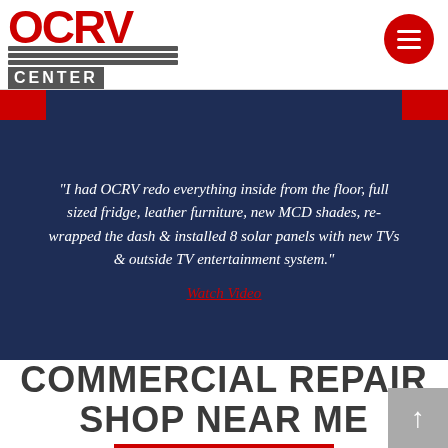[Figure (logo): OCRV Center logo with red OCRV text and gray horizontal lines with CENTER text]
[Figure (other): Red circular hamburger menu button with three white horizontal lines]
“I had OCRV redo everything inside from the floor, full sized fridge, leather furniture, new MCD shades, re-wrapped the dash & installed 8 solar panels with new TVs & outside TV entertainment system.” Watch Video
COMMERCIAL REPAIR SHOP NEAR ME